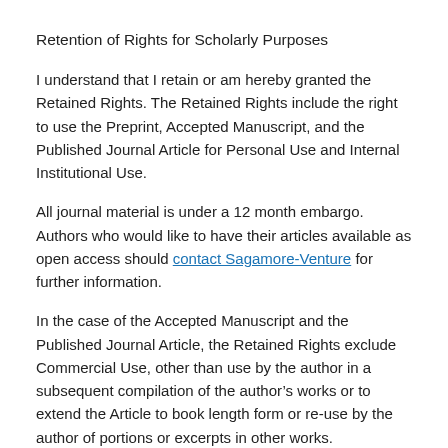Retention of Rights for Scholarly Purposes
I understand that I retain or am hereby granted the Retained Rights. The Retained Rights include the right to use the Preprint, Accepted Manuscript, and the Published Journal Article for Personal Use and Internal Institutional Use.
All journal material is under a 12 month embargo. Authors who would like to have their articles available as open access should contact Sagamore-Venture for further information.
In the case of the Accepted Manuscript and the Published Journal Article, the Retained Rights exclude Commercial Use, other than use by the author in a subsequent compilation of the author’s works or to extend the Article to book length form or re-use by the author of portions or excerpts in other works.
Published Journal Article: the author may share a link to the formal